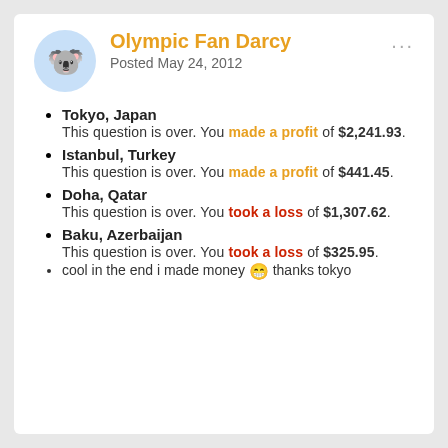Olympic Fan Darcy
Posted May 24, 2012
Tokyo, Japan
This question is over. You made a profit of $2,241.93.
Istanbul, Turkey
This question is over. You made a profit of $441.45.
Doha, Qatar
This question is over. You took a loss of $1,307.62.
Baku, Azerbaijan
This question is over. You took a loss of $325.95.
cool in the end i made money 😁 thanks tokyo